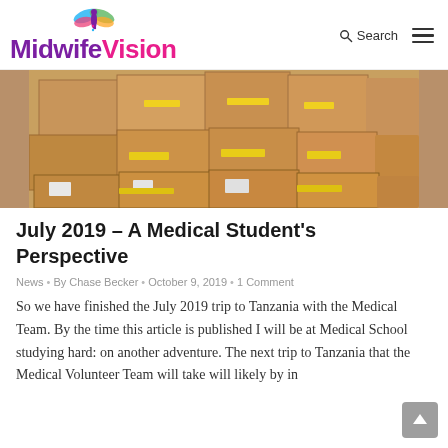Midwife Vision — Search (nav)
[Figure (photo): Stack of brown cardboard boxes piled up in a warehouse or storage area, some with yellow tape or labels.]
July 2019 – A Medical Student's Perspective
News • By Chase Becker • October 9, 2019 • 1 Comment
So we have finished the July 2019 trip to Tanzania with the Medical Team. By the time this article is published I will be at Medical School studying hard: on another adventure. The next trip to Tanzania that the Medical Volunteer Team will take will likely by in